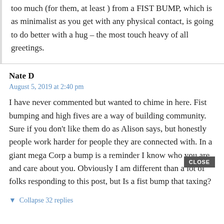too much (for them, at least ) from a FIST BUMP, which is as minimalist as you get with any physical contact, is going to do better with a hug – the most touch heavy of all greetings.
Nate D
August 5, 2019 at 2:40 pm
I have never commented but wanted to chime in here. Fist bumping and high fives are a way of building community. Sure if you don't like them do as Alison says, but honestly people work harder for people they are connected with. In a giant mega Corp a bump is a reminder I know who you are and care about you. Obviously I am different than a lot of folks responding to this post, but Is a fist bump that taxing?
▼ Collapse 32 replies